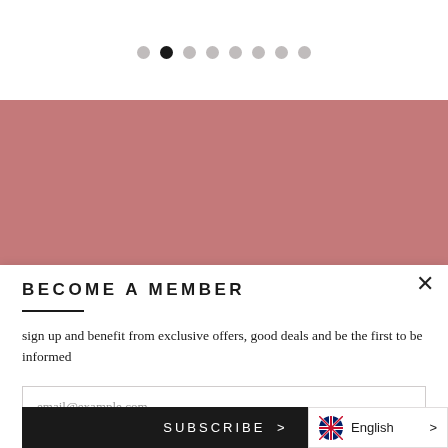[Figure (other): Carousel dot navigation: 8 dots, second dot is active (filled dark), rest are grey]
[Figure (photo): Solid dusty rose / mauve pink colored rectangular banner image area]
BECOME A MEMBER
sign up and benefit from exclusive offers, good deals and be the first to be informed
email@example.com
SUBSCRIBE >
English >